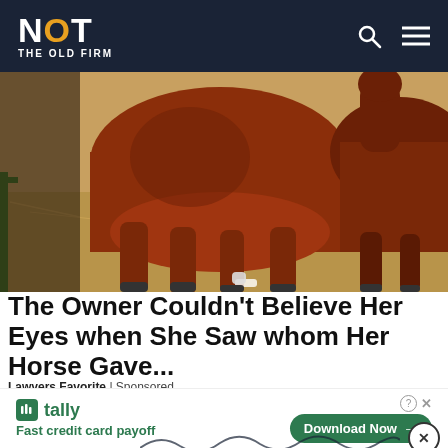NOT THE OLD FIRM
[Figure (photo): Close-up photo of horses in a stable or field with hay/straw on the ground. A large reddish-brown horse dominates the center, with another horse visible on the right side.]
The Owner Couldn't Believe Her Eyes when She Saw whom Her Horse Gave...
Lawyers Favorite | Sponsored
Tags: Hibs, Hibs v St Johnstone, Scottish Cup
[Figure (infographic): Tally app advertisement: 'Fast credit card payoff' with a Download Now button]